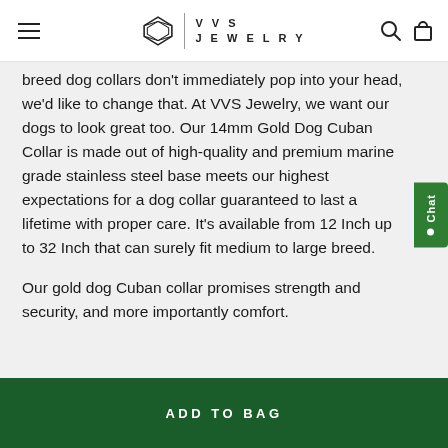VVS JEWELRY
breed dog collars don't immediately pop into your head, we'd like to change that. At VVS Jewelry, we want our dogs to look great too. Our 14mm Gold Dog Cuban Collar is made out of high-quality and premium marine grade stainless steel base meets our highest expectations for a dog collar guaranteed to last a lifetime with proper care. It's available from 12 Inch up to 32 Inch that can surely fit medium to large breed.
Our gold dog Cuban collar promises strength and security, and more importantly comfort.
ADD TO BAG